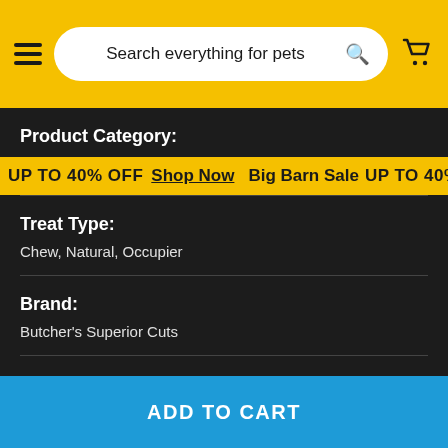Search everything for pets
Product Category:
UP TO 40% OFF  Shop Now  Big Barn Sale  UP TO 40% OFF  Sh
Treat Type:
Chew, Natural, Occupier
Brand:
Butcher's Superior Cuts
Benefits:
Air dried
ADD TO CART